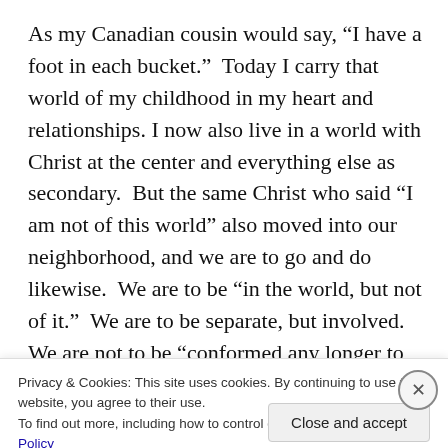As my Canadian cousin would say, “I have a foot in each bucket.”  Today I carry that world of my childhood in my heart and relationships. I now also live in a world with Christ at the center and everything else as secondary.  But the same Christ who said “I am not of this world” also moved into our neighborhood, and we are to go and do likewise.  We are to be “in the world, but not of it.”  We are to be separate, but involved.  We are not to be “conformed any longer to the pattern of this world,” but we are called to love those in the world that God deemed precious
Privacy & Cookies: This site uses cookies. By continuing to use this website, you agree to their use.
To find out more, including how to control cookies, see here: Cookie Policy
Close and accept